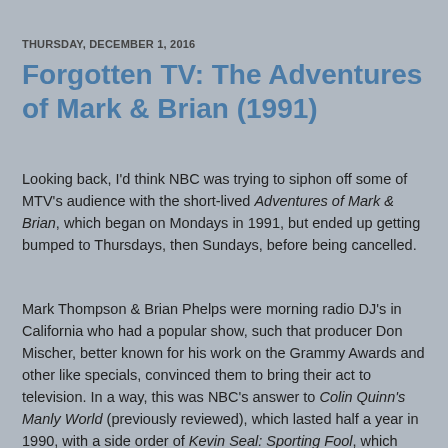THURSDAY, DECEMBER 1, 2016
Forgotten TV: The Adventures of Mark & Brian (1991)
Looking back, I'd think NBC was trying to siphon off some of MTV's audience with the short-lived Adventures of Mark & Brian, which began on Mondays in 1991, but ended up getting bumped to Thursdays, then Sundays, before being cancelled.
Mark Thompson & Brian Phelps were morning radio DJ's in California who had a popular show, such that producer Don Mischer, better known for his work on the Grammy Awards and other like specials, convinced them to bring their act to television. In a way, this was NBC's answer to Colin Quinn's Manly World (previously reviewed), which lasted half a year in 1990, with a side order of Kevin Seal: Sporting Fool, which likewise bombed.